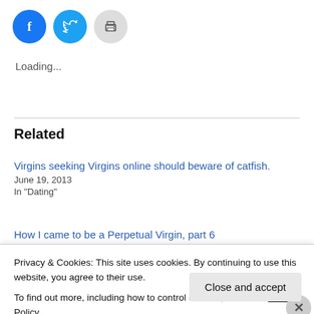[Figure (other): Three circular social/share buttons: Facebook (blue), Twitter (light blue), and Print (gray)]
Loading...
Related
Virgins seeking Virgins online should beware of catfish.
June 19, 2013
In "Dating"
How I came to be a Perpetual Virgin, part 6
Privacy & Cookies: This site uses cookies. By continuing to use this website, you agree to their use.
To find out more, including how to control cookies, see here: Cookie Policy
Close and accept